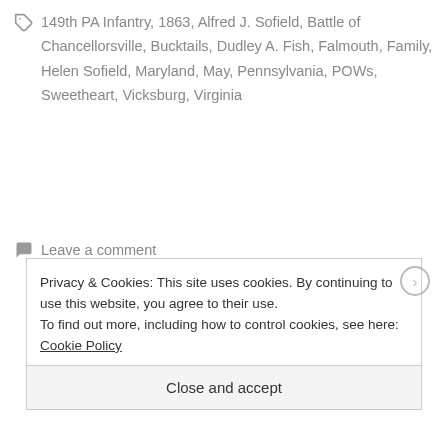149th PA Infantry, 1863, Alfred J. Sofield, Battle of Chancellorsville, Bucktails, Dudley A. Fish, Falmouth, Family, Helen Sofield, Maryland, May, Pennsylvania, POWs, Sweetheart, Vicksburg, Virginia
Leave a comment
[Figure (illustration): Decorative flourish divider with scrollwork and arrow motif]
Privacy & Cookies: This site uses cookies. By continuing to use this website, you agree to their use.
To find out more, including how to control cookies, see here: Cookie Policy
Close and accept